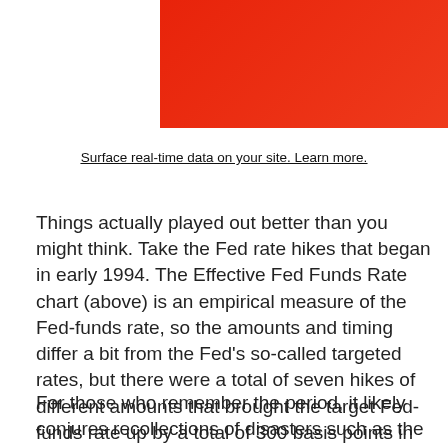[Figure (other): Red/orange banner image partially visible at top of page]
Surface real-time data on your site. Learn more.
Things actually played out better than you might think. Take the Fed rate hikes that began in early 1994. The Effective Fed Funds Rate chart (above) is an empirical measure of the Fed-funds rate, so the amounts and timing differ a bit from the Fed’s so-called targeted rates, but there were a total of seven hikes of different amounts that brought the target Fed-funds rate up by a total of 300 basis points in 12 months.
For those who remember the period, it likely conjures recollections of disasters such as the implosion of Orange